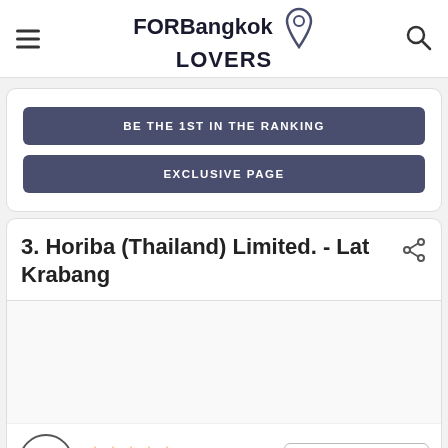FORBangkok LOVERS
BE THE 1ST IN THE RANKING
EXCLUSIVE PAGE
3. Horiba (Thailand) Limited. - Lat Krabang
[Figure (photo): Photo area for Horiba (Thailand) Limited listing]
5 ★★★★★ 1 reviews MORE PHOTOS